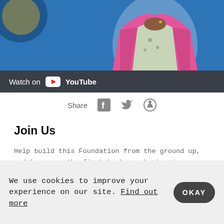[Figure (screenshot): Video thumbnail showing a woman in a pink blazer on a blue background, with a YouTube 'Watch on YouTube' overlay bar at the bottom]
Share
Join Us
Help build this Foundation from the ground up, and be among the first to know about major news and updates.
Email
Top
We use cookies to improve your experience on our site. Find out more